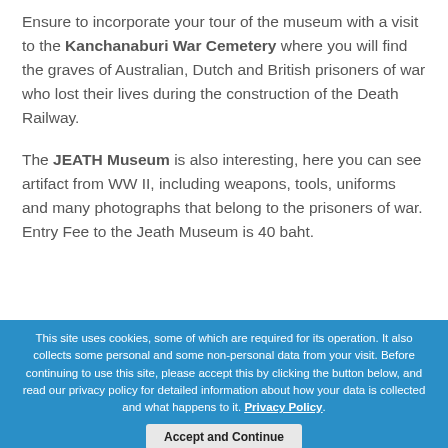Ensure to incorporate your tour of the museum with a visit to the Kanchanaburi War Cemetery where you will find the graves of Australian, Dutch and British prisoners of war who lost their lives during the construction of the Death Railway.
The JEATH Museum is also interesting, here you can see artifact from WW II, including weapons, tools, uniforms and many photographs that belong to the prisoners of war. Entry Fee to the Jeath Museum is 40 baht.
This site uses cookies, some of which are required for its operation. It also collects some personal and some non-personal data from your visit. Before continuing to use this site, please accept this by clicking the button below, and read our privacy policy for detailed information about how your data is collected and what happens to it. Privacy Policy.